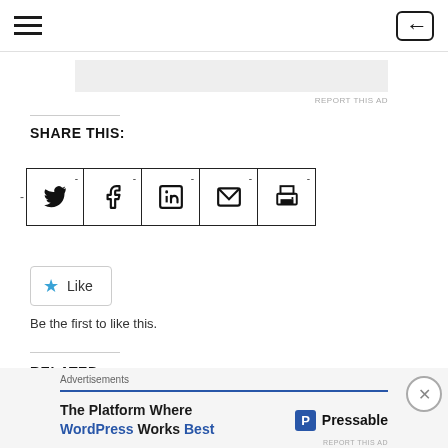Navigation bar with hamburger menu and login icon
[Figure (other): Gray advertisement placeholder rectangle]
REPORT THIS AD
SHARE THIS:
[Figure (infographic): Social share buttons row: Twitter, Facebook, LinkedIn, Email, Print — each in a bordered square with a dash superscript]
[Figure (other): Like button with blue star and text 'Like']
Be the first to like this.
RELATED
[Figure (photo): Partial grayscale photo strip for related content]
Advertisements
The Platform Where WordPress Works Best — Pressable